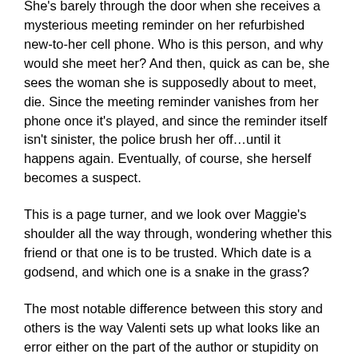She's barely through the door when she receives a mysterious meeting reminder on her refurbished new-to-her cell phone. Who is this person, and why would she meet her? And then, quick as can be, she sees the woman she is supposedly about to meet, die. Since the meeting reminder vanishes from her phone once it's played, and since the reminder itself isn't sinister, the police brush her off…until it happens again. Eventually, of course, she herself becomes a suspect.
This is a page turner, and we look over Maggie's shoulder all the way through, wondering whether this friend or that one is to be trusted. Which date is a godsend, and which one is a snake in the grass?
The most notable difference between this story and others is the way Valenti sets up what looks like an error either on the part of the author or stupidity on the part of the protagonist, and then on the back beat, we see exactly why that was there, and that she anticipated our reaction all along. She does it over and over, and it's hilarious. I feel as if the author is speaking to me as I read, howling,